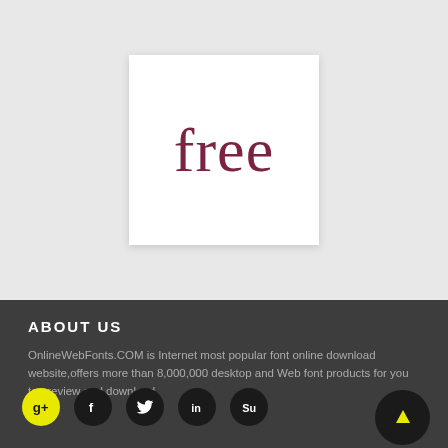[Figure (logo): White box with the word 'free' in dark red/maroon serif font on a light gray background]
ABOUT US
OnlineWebFonts.COM is Internet most popular font online download website,offers more than 8,000,000 desktop and Web font products for you to preview and download.
[Figure (infographic): Row of social media icon buttons: Google+ (yellow), Facebook (black), Twitter (black), LinkedIn (black), StumbleUpon (black)]
EMAIL SUBSCRIBE
All hd and TTF Fonts, the E-Mail edition,